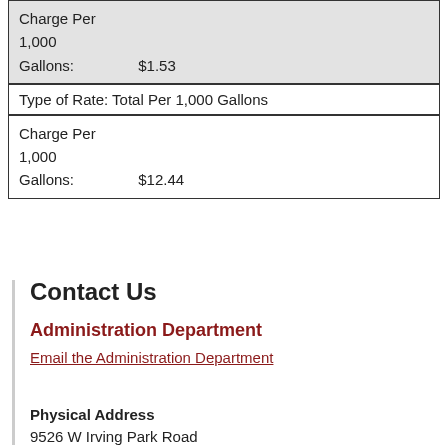| Charge Per
1,000
Gallons: | $1.53 |
| Type of Rate: Total Per 1,000 Gallons |  |
| Charge Per
1,000
Gallons: | $12.44 |
Contact Us
Administration Department
Email the Administration Department
Physical Address
9526 W Irving Park Road
Schiller Park, IL 60176